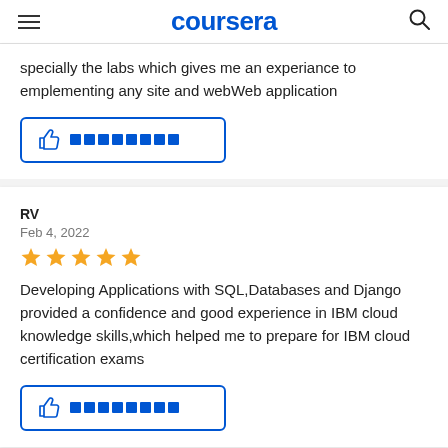coursera
specially the labs which gives me an experiance to emplementing any site and webWeb application
[Figure (other): Thumbs up helpful button with blue border and blue square icons]
RV
Feb 4, 2022
[Figure (other): 5 gold star rating]
Developing Applications with SQL,Databases and Django provided a confidence and good experience in IBM cloud knowledge skills,which helped me to prepare for IBM cloud certification exams
[Figure (other): Thumbs up helpful button with blue border and blue square icons]